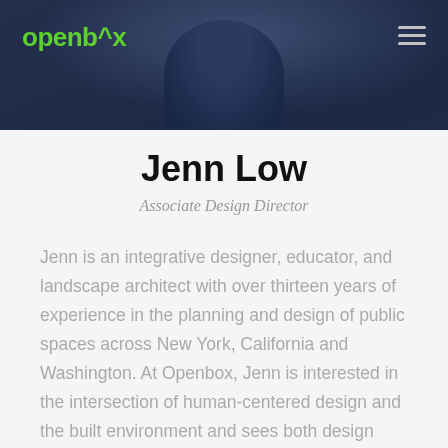[Figure (photo): Header photo of Jenn Low, a person in dark clothing against a blurred outdoor background, with Openbox logo top-left and hamburger menu top-right]
Jenn Low
Associate Design Director
Jenn is an integrative designer, educator, and landscape architect with over thirteen years of experience in the planning and design of public spaces across New York, California and Washington. At Openbox, Jenn is interested in the intersection of human-centered design and the built environment and sees both design research and the power of place as key tools to advance our work toward justice and equity. Jenn holds a BLA from the University of Washington and an